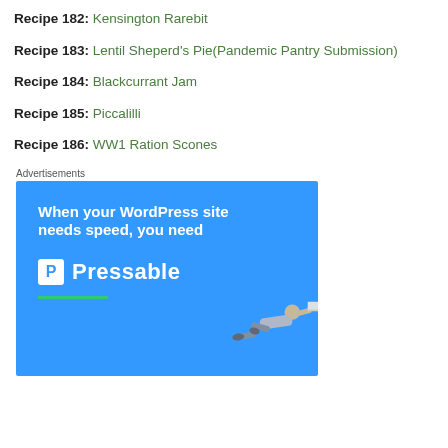Recipe 182: Kensington Rarebit
Recipe 183: Lentil Sheperd's Pie(Pandemic Pantry Submission)
Recipe 184: Blackcurrant Jam
Recipe 185: Piccalilli
Recipe 186: WW1 Ration Scones
Advertisements
[Figure (photo): Pressable WordPress hosting advertisement with blue background showing 'When your WordPress site needs speed, you need Pressable' with a person diving horizontally holding a laptop]